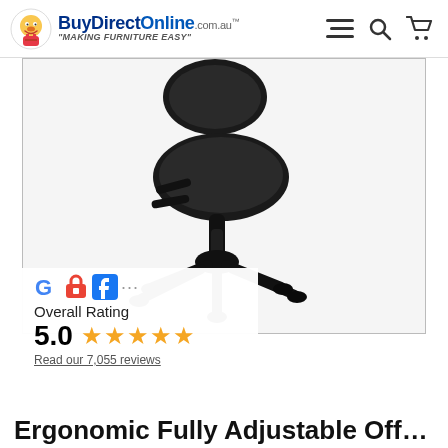BuyDirectOnline.com.au "MAKING FURNITURE EASY"
[Figure (photo): Black ergonomic office chair without armrests, shown on white background, with adjustable height mechanism and five-star wheeled base]
[Figure (logo): Google, Facebook and other review platform logos side by side]
Overall Rating
5.0 ★★★★★
Read our 7,055 reviews
Ergonomic Fully Adjustable Office